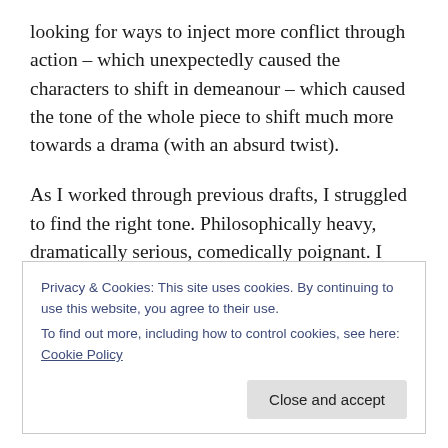looking for ways to inject more conflict through action – which unexpectedly caused the characters to shift in demeanour – which caused the tone of the whole piece to shift much more towards a drama (with an absurd twist).
As I worked through previous drafts, I struggled to find the right tone. Philosophically heavy, dramatically serious, comedically poignant. I think I'm there.
With this draft freshly completed, I attended the Toronto Screenwriters Conference last weekend – where my mind
Privacy & Cookies: This site uses cookies. By continuing to use this website, you agree to their use.
To find out more, including how to control cookies, see here: Cookie Policy